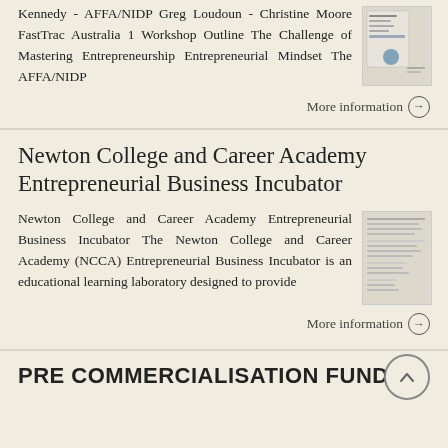Kennedy - AFFA/NIDP Greg Loudoun - Christine Moore FastTrac Australia 1 Workshop Outline The Challenge of Mastering Entrepreneurship Entrepreneurial Mindset The AFFA/NIDP
More information →
Newton College and Career Academy Entrepreneurial Business Incubator
Newton College and Career Academy Entrepreneurial Business Incubator The Newton College and Career Academy (NCCA) Entrepreneurial Business Incubator is an educational learning laboratory designed to provide
More information →
PRE COMMERCIALISATION FUND